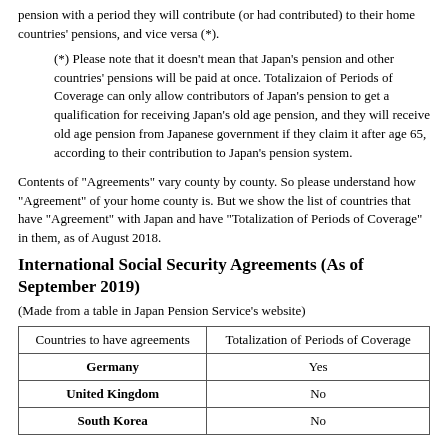pension with a period they will contribute (or had contributed) to their home countries' pensions, and vice versa (*).
(*) Please note that it doesn't mean that Japan's pension and other countries' pensions will be paid at once. Totalizaion of Periods of Coverage can only allow contributors of Japan's pension to get a qualification for receiving Japan's old age pension, and they will receive old age pension from Japanese government if they claim it after age 65, according to their contribution to Japan's pension system.
Contents of "Agreements" vary county by county. So please understand how "Agreement" of your home county is. But we show the list of countries that have "Agreement" with Japan and have "Totalization of Periods of Coverage" in them, as of August 2018.
International Social Security Agreements (As of September 2019)
(Made from a table in Japan Pension Service's website)
| Countries to have agreements | Totalization of Periods of Coverage |
| --- | --- |
| Germany | Yes |
| United Kingdom | No |
| South Korea | No |